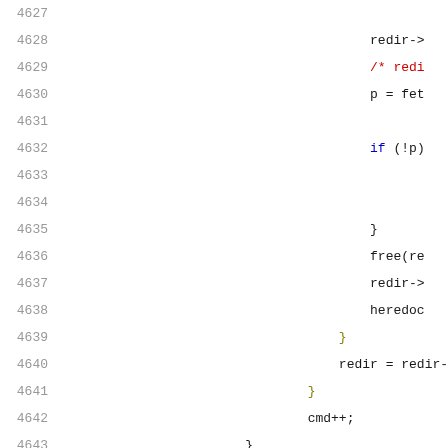Source code listing, lines 4627-4648, showing C code with syntax highlighting